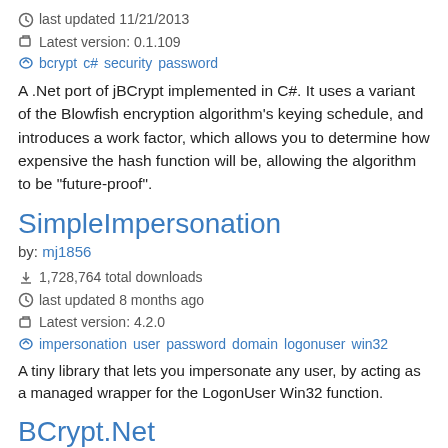last updated 11/21/2013
Latest version: 0.1.109
bcrypt c# security password
A .Net port of jBCrypt implemented in C#. It uses a variant of the Blowfish encryption algorithm's keying schedule, and introduces a work factor, which allows you to determine how expensive the hash function will be, allowing the algorithm to be "future-proof".
SimpleImpersonation
by: mj1856
1,728,764 total downloads
last updated 8 months ago
Latest version: 4.2.0
impersonation user password domain logonuser win32
A tiny library that lets you impersonate any user, by acting as a managed wrapper for the LogonUser Win32 function.
BCrypt.Net